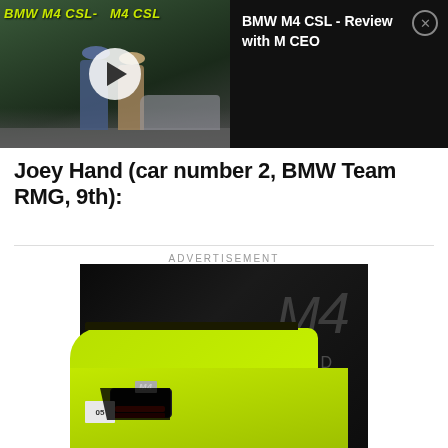[Figure (screenshot): BMW M4 CSL video thumbnail showing two people standing near a car, with a play button overlay and 'BMW M4 CSL' yellow text]
BMW M4 CSL - Review with M CEO
Joey Hand (car number 2, BMW Team RMG, 9th):
ADVERTISEMENT
[Figure (photo): BMW M4 advertisement showing the rear of a lime/yellow BMW M4 car with M4 badge and license plate 05, against a dark background with 'M4' and 'AND' text watermarks]